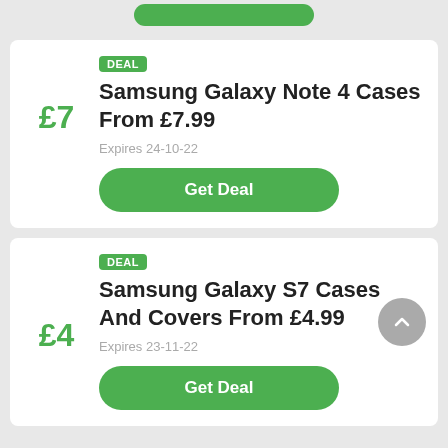[Figure (screenshot): Top partial card with a green Get Deal button visible at the top]
DEAL
Samsung Galaxy Note 4 Cases From £7.99
£7
Expires 24-10-22
Get Deal
DEAL
Samsung Galaxy S7 Cases And Covers From £4.99
£4
Expires 23-11-22
Get Deal